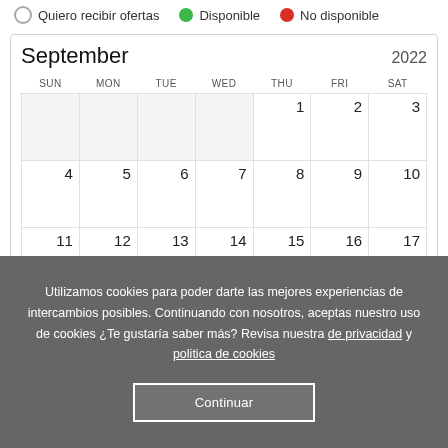Quiero recibir ofertas   Disponible   No disponible
[Figure (other): Calendar view for September 2022 showing days 1-17 across three rows. Days 1-3 are in the first row (Thu-Sat), days 4-10 in the second row, days 11-17 in the third row.]
Utilizamos cookies para poder darte las mejores experiencias de intercambios posibles. Continuando con nosotros, aceptas nuestro uso de cookies ¿Te gustaría saber más? Revisa nuestra de privacidad y politica de cookies
Continuar